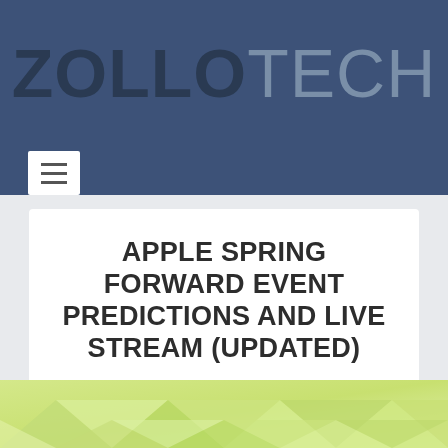ZOLLOTECH
APPLE SPRING FORWARD EVENT PREDICTIONS AND LIVE STREAM (UPDATED)
Mar 9, 2015 | News, Opinion | 0 💬 | ★☆☆☆☆
[Figure (illustration): Green/yellow geometric low-poly triangle pattern background image strip at bottom of page]